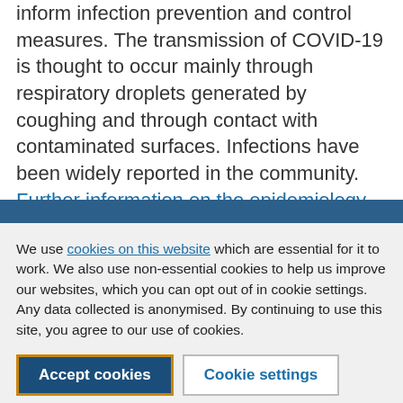inform infection prevention and control measures. The transmission of COVID-19 is thought to occur mainly through respiratory droplets generated by coughing and through contact with contaminated surfaces. Infections have been widely reported in the community. Further information on the epidemiology of COVID-19 in healthcare settings can be found on
We use cookies on this website which are essential for it to work. We also use non-essential cookies to help us improve our websites, which you can opt out of in cookie settings. Any data collected is anonymised. By continuing to use this site, you agree to our use of cookies.